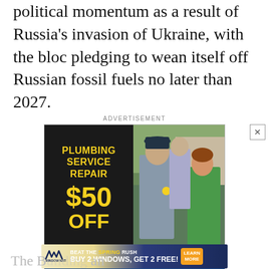political momentum as a result of Russia's invasion of Ukraine, with the bloc pledging to wean itself off Russian fossil fuels no later than 2027.
[Figure (infographic): Advertisement for CroppMetcalfe plumbing services. Shows 'PLUMBING SERVICE REPAIR $50 OFF' in yellow text on dark background with photo of plumber and customer. Blue bar reads 'Pesky Plumbing Problem?' Bottom shows CroppMetcalfe Services logo, phone 1-800-GO-CROPP, croppmetcalfe.com, and 'SCHEDULE A CALL TODAY!' button.]
[Figure (infographic): Advertisement for Window Nation. Yellow and dark blue banner reading 'BEAT THE SPRING RUSH / BUY 2 WINDOWS, GET 2 FREE!' with LEARN MORE button.]
The B... an